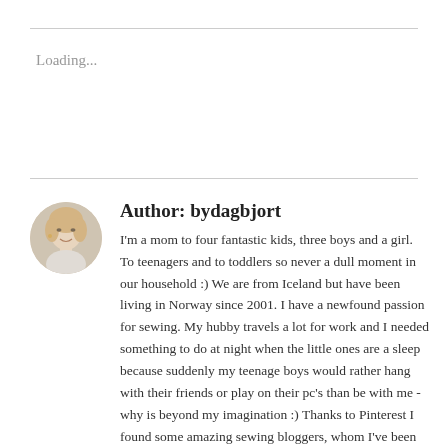Loading...
[Figure (photo): Circular avatar photo of a blonde woman with light skin, smiling slightly, against a light background]
Author: bydagbjort
I'm a mom to four fantastic kids, three boys and a girl. To teenagers and to toddlers so never a dull moment in our household :) We are from Iceland but have been living in Norway since 2001. I have a newfound passion for sewing. My hubby travels a lot for work and I needed something to do at night when the little ones are a sleep because suddenly my teenage boys would rather hang with their friends or play on their pc's than be with me - why is beyond my imagination :) Thanks to Pinterest I found some amazing sewing bloggers, whom I've been stalking, and realized that I could dig out my